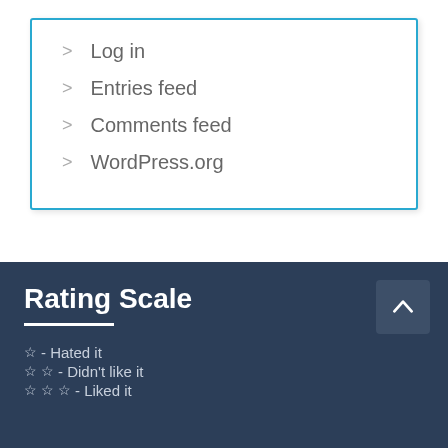> Log in
> Entries feed
> Comments feed
> WordPress.org
Rating Scale
☆ - Hated it
☆ ☆ - Didn't like it
☆ ☆ ☆ - Liked it